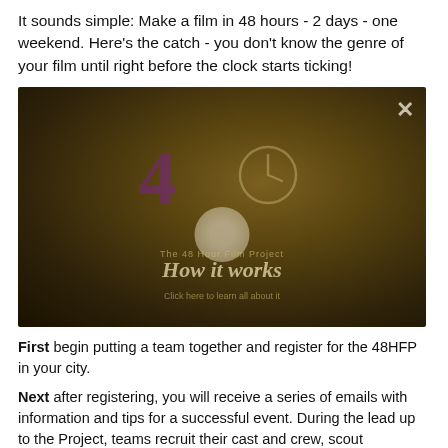It sounds simple:  Make a film in 48 hours - 2 days - one weekend. Here's the catch - you don't know the genre of your film until right before the clock starts ticking!
[Figure (screenshot): Dark brownish-gold video thumbnail with a large purple '4' numeral, a clock icon, a circular badge/logo, and overlaid text reading 'How it works' in italic script. An X close button is in the top right corner.]
First begin putting a team together and register for the 48HFP in your city.
Next after registering, you will receive a series of emails with information and tips for a successful event.  During the lead up to the Project, teams recruit their cast and crew, scout locations, and all their gear to get them and their s...